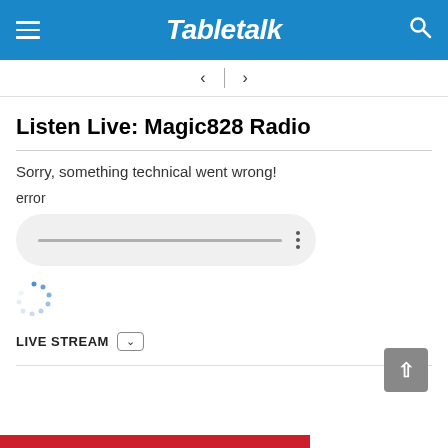Tabletalk
[Figure (screenshot): Navigation bar with left and right arrows separated by a vertical divider]
Listen Live: Magic828 Radio
Sorry, something technical went wrong!
error
[Figure (screenshot): Audio player pill with a grey progress track bar and three vertical dots menu icon]
[Figure (screenshot): Spinning loading spinner (blue dashed circle)]
LIVE STREAM
[Figure (screenshot): Scroll to top button (grey square with upward arrow), and a red bar at the bottom of the page]